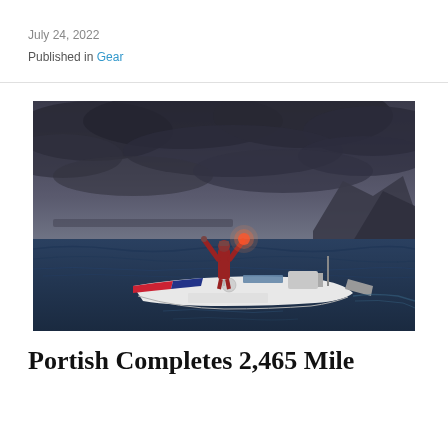July 24, 2022
Published in Gear
[Figure (photo): A person standing on a small ocean rowing boat with arms raised, holding a red flare, on the open ocean with a mountainous coastline in the background under a dramatic cloudy sky at dusk.]
Portish Completes 2,465 Mile